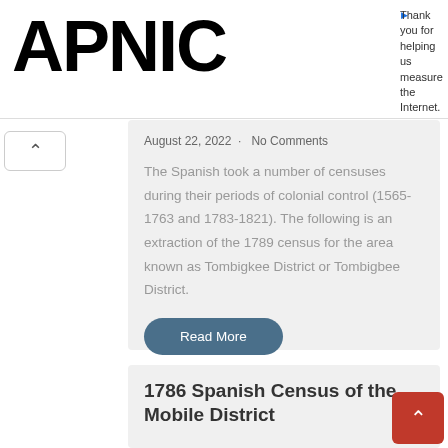APNIC
Thank you for helping us measure the Internet.
August 22, 2022 · No Comments
The Spanish took a number of censuses during their periods of colonial control (1565-1763 and 1783-1821). The following is an extraction of the 1789 census for the area known as Tombigkee District or Tombigbee District.
Read More
1786 Spanish Census of the Mobile District